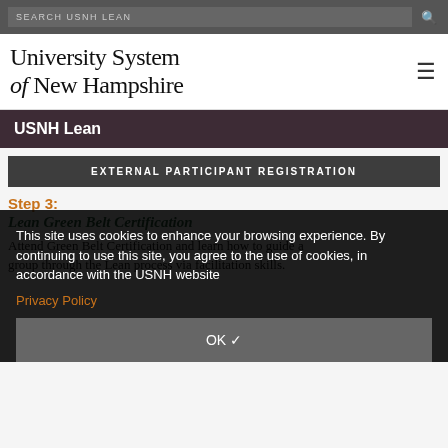SEARCH USNH LEAN
University System of New Hampshire
USNH Lean
EXTERNAL PARTICIPANT REGISTRATION
This site uses cookies to enhance your browsing experience. By continuing to use this site, you agree to the use of cookies, in accordance with the USNH website
Privacy Policy
OK ✓
Step 3:
Lean Green Belt Certification
Attend Green Belt Certification and learn how to guide a group through the Lean process via facilitation skills.